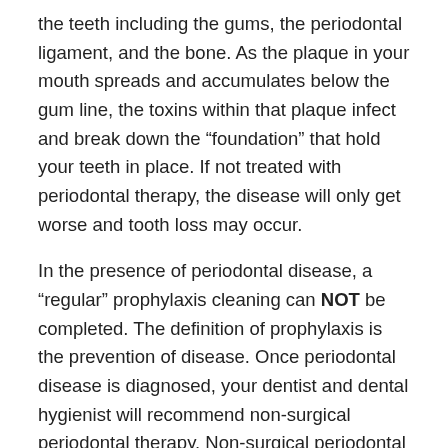the teeth including the gums, the periodontal ligament, and the bone. As the plaque in your mouth spreads and accumulates below the gum line, the toxins within that plaque infect and break down the “foundation” that hold your teeth in place. If not treated with periodontal therapy, the disease will only get worse and tooth loss may occur.
In the presence of periodontal disease, a “regular” prophylaxis cleaning can NOT be completed. The definition of prophylaxis is the prevention of disease. Once periodontal disease is diagnosed, your dentist and dental hygienist will recommend non-surgical periodontal therapy. Non-surgical periodontal therapy is also referred to as scaling and root planing, or a deep cleaning. Scaling and root planing involves thoroughly removing the plaque and calculus (tartar) that resides above and below the compromised gums. Smoothing the tooth roots allows a